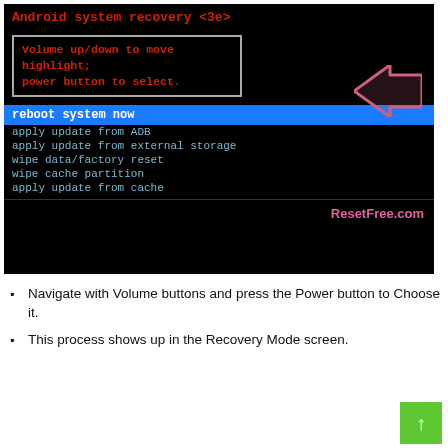[Figure (screenshot): Android system recovery <3e> screen showing menu options: reboot system now (highlighted in blue), apply update from ADB, apply update from external storage, wipe data/factory reset, wipe cache partition, apply update from cache. Top section shows instruction text in a box: Volume up/down to move highlight; power button to select. An arrow pointing left is shown. Watermark: ResetFree.com]
Navigate with Volume buttons and press the Power button to Choose it.
This process shows up in the Recovery Mode screen.